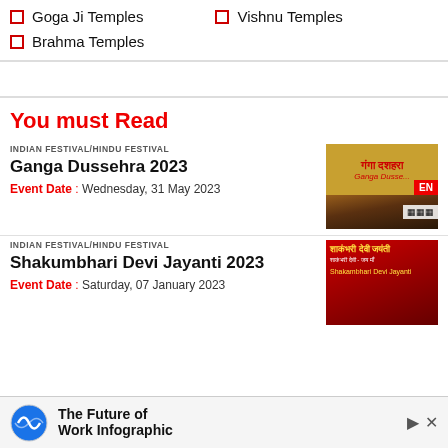Goga Ji Temples
Vishnu Temples
Brahma Temples
You must Read
INDIAN FESTIVAL/HINDU FESTIVAL
Ganga Dussehra 2023
Event Date : Wednesday, 31 May 2023
[Figure (photo): Ganga Dussehra 2023 festival image with Hindi text and crowd near river]
INDIAN FESTIVAL/HINDU FESTIVAL
Shakumbhari Devi Jayanti 2023
Event Date : Saturday, 07 January 2023
[Figure (photo): Shakumbhari Devi Jayanti 2023 festival image with Hindi text and goddess]
The Future of Work Infographic